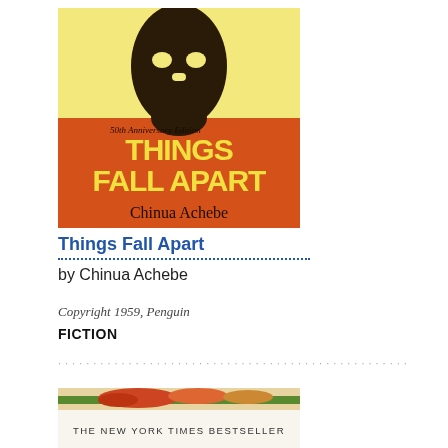[Figure (illustration): Book cover of Things Fall Apart by Chinua Achebe, 50th Anniversary Edition. Orange and yellow cover with a dark African mask silhouette. Title in large yellow text, author name below.]
Things Fall Apart
by Chinua Achebe
Copyright 1959, Penguin
FICTION
[Figure (illustration): Partial book cover showing colorful landscape with text THE NEW YORK TIMES BESTSELLER]